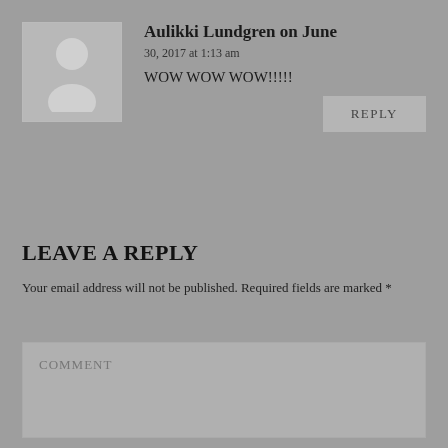Aulikki Lundgren on June 30, 2017 at 1:13 am
WOW WOW WOW!!!!!
REPLY
LEAVE A REPLY
Your email address will not be published. Required fields are marked *
COMMENT